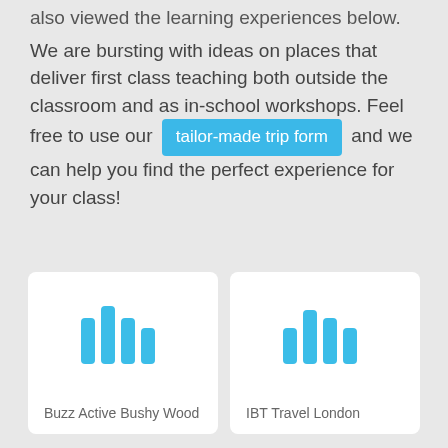also viewed the learning experiences below.
We are bursting with ideas on places that deliver first class teaching both outside the classroom and as in-school workshops. Feel free to use our tailor-made trip form and we can help you find the perfect experience for your class!
[Figure (other): Card with bar chart style icon for Buzz Active Bushy Wood]
Buzz Active Bushy Wood
[Figure (other): Card with bar chart style icon for IBT Travel London]
IBT Travel London
[Figure (other): Partial card at bottom left]
[Figure (other): Partial card at bottom right]